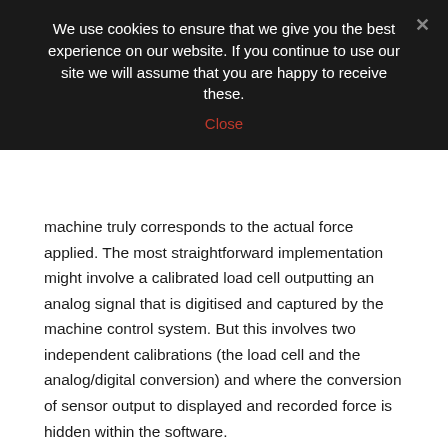We use cookies to ensure that we give you the best experience on our website. If you continue to use our site we will assume that you are happy to receive these.
Close
machine truly corresponds to the actual force applied. The most straightforward implementation might involve a calibrated load cell outputting an analog signal that is digitised and captured by the machine control system. But this involves two independent calibrations (the load cell and the analog/digital conversion) and where the conversion of sensor output to displayed and recorded force is hidden within the software.
The first important feature needed within the machine is a maintenance function that will allow the force measurement to be carried out in isolation. The details of maintenance functions will not be defined in a URS